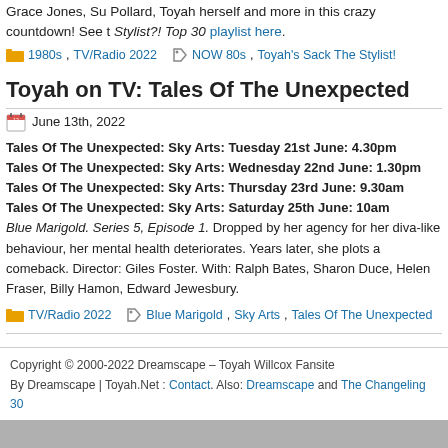Grace Jones, Su Pollard, Toyah herself and more in this crazy countdown! See the Stylist?! Top 30 playlist here.
1980s, TV/Radio 2022 | NOW 80s, Toyah's Sack The Stylist!
Toyah on TV: Tales Of The Unexpected
June 13th, 2022
Tales Of The Unexpected: Sky Arts: Tuesday 21st June: 4.30pm
Tales Of The Unexpected: Sky Arts: Wednesday 22nd June: 1.30pm
Tales Of The Unexpected: Sky Arts: Thursday 23rd June: 9.30am
Tales Of The Unexpected: Sky Arts: Saturday 25th June: 10am
Blue Marigold. Series 5, Episode 1. Dropped by her agency for her diva-like behaviour, a singer's mental health deteriorates. Years later, she plots a comeback. Director: Giles Foster. With: Ralph Bates, Sharon Duce, Helen Fraser, Billy Hamon, Edward Jewesbury.
TV/Radio 2022 | Blue Marigold, Sky Arts, Tales Of The Unexpected
Copyright © 2000-2022 Dreamscape – Toyah Willcox Fansite
By Dreamscape | Toyah.Net : Contact. Also: Dreamscape and The Changeling 30